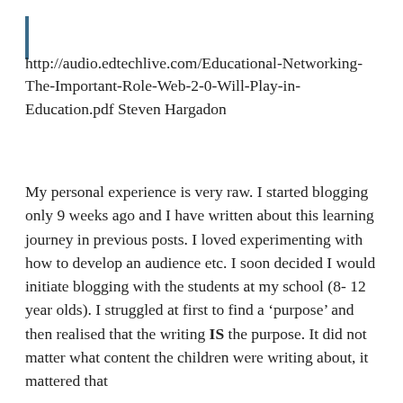http://audio.edtechlive.com/Educational-Networking-The-Important-Role-Web-2-0-Will-Play-in-Education.pdf Steven Hargadon
My personal experience is very raw. I started blogging only 9 weeks ago and I have written about this learning journey in previous posts. I loved experimenting with how to develop an audience etc. I soon decided I would initiate blogging with the students at my school (8- 12 year olds). I struggled at first to find a ‘purpose’ and then realised that the writing IS the purpose. It did not matter what content the children were writing about, it mattered that